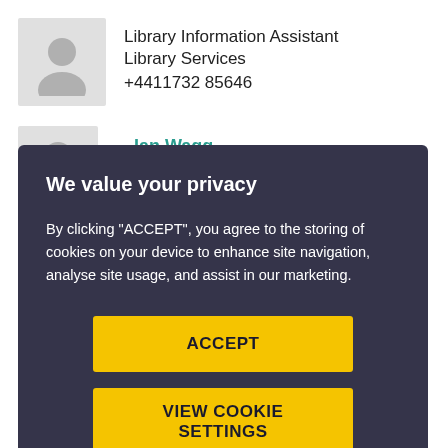Library Information Assistant
Library Services
+4411732 85646
Ian Wagg
We value your privacy
By clicking "ACCEPT", you agree to the storing of cookies on your device to enhance site navigation, analyse site usage, and assist in our marketing.
ACCEPT
VIEW COOKIE SETTINGS